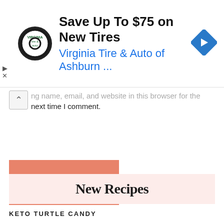[Figure (screenshot): Advertisement banner: circular tire & auto logo, headline 'Save Up To $75 on New Tires', subline 'Virginia Tire & Auto of Ashburn ...', blue diamond navigation icon on right, skip/play icons on left edge.]
...ng name, email, and website in this browser for the next time I comment.
POST COMMENT
New Recipes
KETO TURTLE CANDY